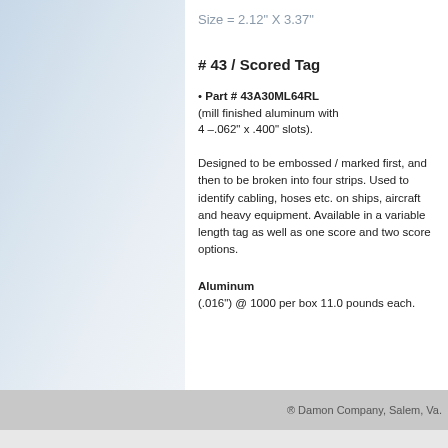Size = 2.12" X 3.37"
# 43 / Scored Tag
• Part # 43A30ML64RL (mill finished aluminum with 4 –.062" x .400" slots).
Designed to be embossed / marked first, and then to be broken into four strips. Used to identify cabling, hoses etc. on ships, aircraft and heavy equipment. Available in a variable length tag as well as one score and two score options.
Aluminum (.016") @ 1000 per box 11.0 pounds each.
® Damon Company, Salem, Va.